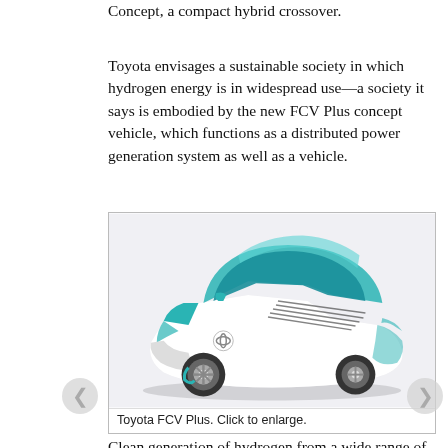Concept, a compact hybrid crossover.
Toyota envisages a sustainable society in which hydrogen energy is in widespread use—a society it says is embodied by the new FCV Plus concept vehicle, which functions as a distributed power generation system as well as a vehicle.
[Figure (photo): Toyota FCV Plus concept car — a futuristic compact vehicle with white body panels and teal/blue transparent upper section, shown in three-quarter front view on a white background.]
Toyota FCV Plus. Click to enlarge.
Clean generation of hydrogen from a wide range of primary energy sources will make local, self-sufficient